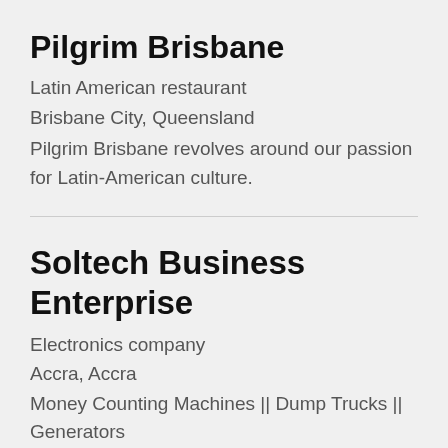Pilgrim Brisbane
Latin American restaurant
Brisbane City, Queensland
Pilgrim Brisbane revolves around our passion for Latin-American culture.
Soltech Business Enterprise
Electronics company
Accra, Accra
Money Counting Machines || Dump Trucks || Generators
Empire Psychiatry